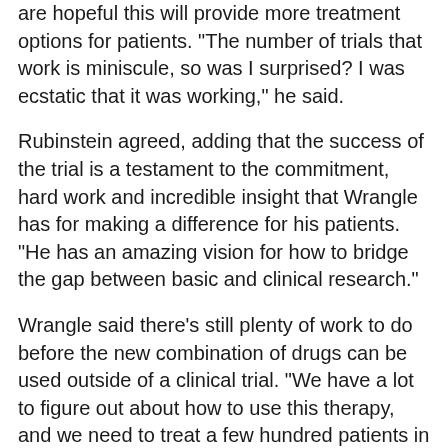are hopeful this will provide more treatment options for patients. "The number of trials that work is miniscule, so was I surprised? I was ecstatic that it was working," he said.
Rubinstein agreed, adding that the success of the trial is a testament to the commitment, hard work and incredible insight that Wrangle has for making a difference for his patients. "He has an amazing vision for how to bridge the gap between basic and clinical research."
Wrangle said there's still plenty of work to do before the new combination of drugs can be used outside of a clinical trial. "We have a lot to figure out about how to use this therapy, and we need to treat a few hundred patients in order to get a better sense of how to refine the synergy of these two classes of drugs. That's just going to take time," he said.
Both of the researchers, who are in their early forties, said they were motivated by the need to give lung cancer patients better options. Wrangle plans to frame the study's publication. "I think this manuscript will be the thing that we have on the wall that we